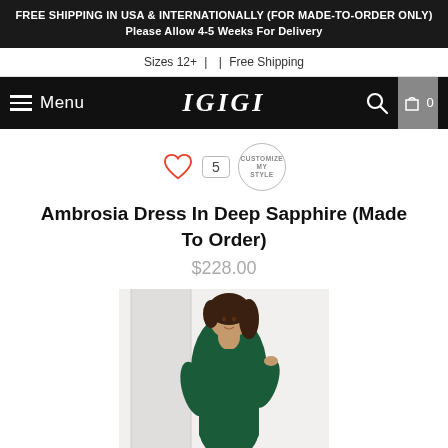FREE SHIPPING IN USA & INTERNATIONALLY (FOR MADE-TO-ORDER ONLY) Please Allow 4-5 Weeks For Delivery
Sizes 12+ | | Free Shipping
Menu | IGIGI | 0
[Figure (other): Heart icon with number 5 badge and circular 'Customize My Style' badge]
Ambrosia Dress In Deep Sapphire (Made To Order)
$228.00
[Figure (photo): Plus-size woman wearing a deep green/sapphire form-fitting dress with 3/4 sleeves and a V-neckline, posed against a white wall]